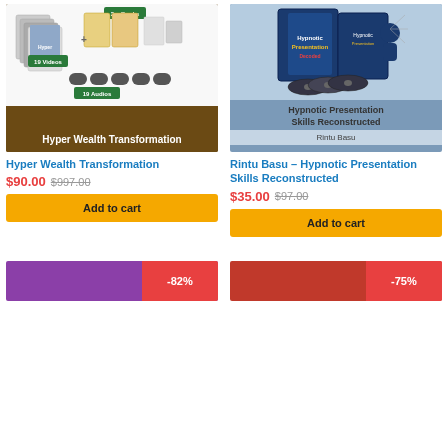[Figure (photo): Hyper Wealth Transformation product image showing 19 Videos, 2 e-Books, 19 Audios on brown background]
Hyper Wealth Transformation
$90.00 $997.00
Add to cart
[Figure (photo): Hypnotic Presentation Skills Reconstructed product image with box set on blue background, author Rintu Basu]
Rintu Basu – Hypnotic Presentation Skills Reconstructed
$35.00 $97.00
Add to cart
[Figure (photo): Bottom left product card with purple and red background, -82% badge]
[Figure (photo): Bottom right product card with red background, -75% badge]